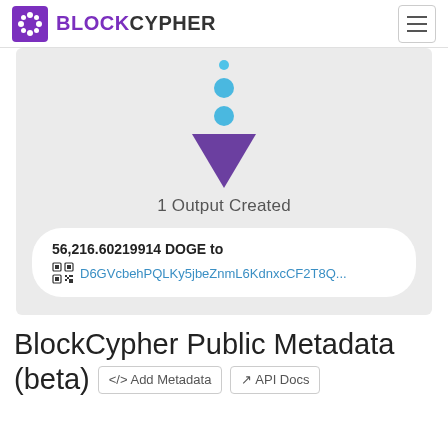BLOCKCYPHER
[Figure (infographic): Blockchain transaction diagram showing three blue dots connected vertically leading to a downward-pointing purple triangle arrow, followed by '1 Output Created' label and a transaction card showing '56,216.60219914 DOGE to D6GVcbehPQLKy5jbeZnmL6KdnxcCF2T8Q...']
BlockCypher Public Metadata (beta)